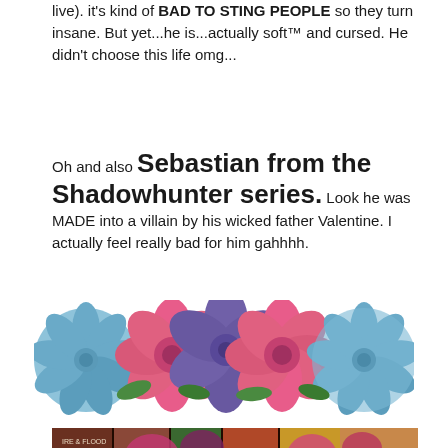live). it's kind of BAD TO STING PEOPLE so they turn insane. But yet...he is...actually soft™ and cursed. He didn't choose this life omg...
Oh and also Sebastian from the Shadowhunter series. Look he was MADE into a villain by his wicked father Valentine. I actually feel really bad for him gahhhh.
[Figure (illustration): Decorative floral divider with pink peonies and blue dahlias arranged horizontally]
[Figure (photo): Photo of stacked books with flowers, including Fire & Flood, I Was Born for This, and other titles]